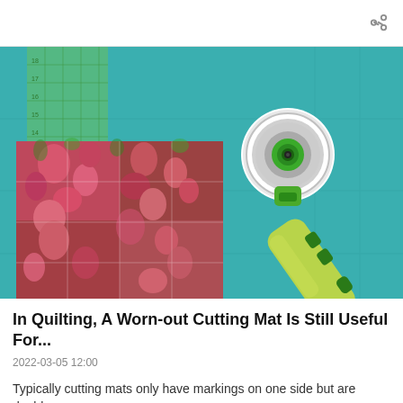[Figure (photo): A green rotary cutter tool resting on a teal/turquoise self-healing cutting mat, with a piece of floral quilt fabric (pink and red flowers on green background) placed on the left portion of the mat. A transparent quilting ruler is visible over the fabric. The scene is photographed from above.]
In Quilting, A Worn-out Cutting Mat Is Still Useful For...
2022-03-05 12:00
Typically cutting mats only have markings on one side but are double-